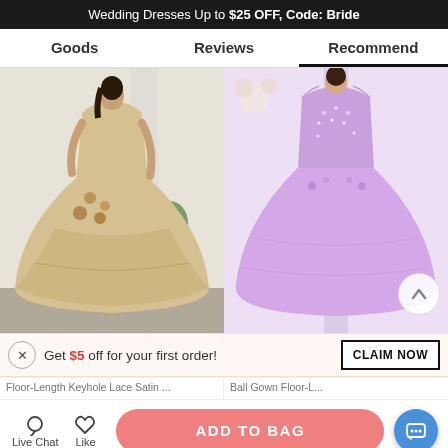Wedding Dresses Up to $25 OFF, Code: Bride
Goods | Reviews | Recommend
[Figure (photo): A model wearing an ornate champagne/gold ball gown wedding dress with lace and floral detailing, full skirt, photographed indoors]
[Figure (photo): A lavender/purple tulle ball gown with beaded bodice and sheer illusion neckline, displayed in a ornate room setting]
Get $5 off for your first order!
CLAIM NOW
Floor-Length Keyhole Lace Satin ...
Ball Gown Floor-L...
ADD TO BAG
Live Chat
Like